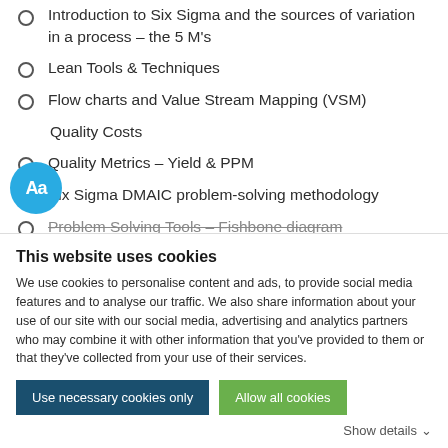Introduction to Six Sigma and the sources of variation in a process – the 5 M's
Lean Tools & Techniques
Flow charts and Value Stream Mapping (VSM)
Quality Costs
Quality Metrics – Yield & PPM
Six Sigma DMAIC problem-solving methodology
Problem Solving Tools – Fishbone diagram
This website uses cookies
We use cookies to personalise content and ads, to provide social media features and to analyse our traffic. We also share information about your use of our site with our social media, advertising and analytics partners who may combine it with other information that you've provided to them or that they've collected from your use of their services.
Use necessary cookies only | Allow all cookies
Show details